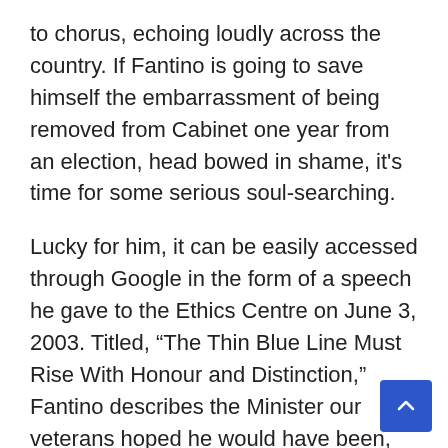to chorus, echoing loudly across the country. If Fantino is going to save himself the embarrassment of being removed from Cabinet one year from an election, head bowed in shame, it's time for some serious soul-searching.
Lucky for him, it can be easily accessed through Google in the form of a speech he gave to the Ethics Centre on June 3, 2003. Titled, “The Thin Blue Line Must Rise With Honour and Distinction,” Fantino describes the Minister our veterans hoped he would have been, and could — along with a minor Christmas miracle — still be.
So, with the clock ticking, and the last grains of